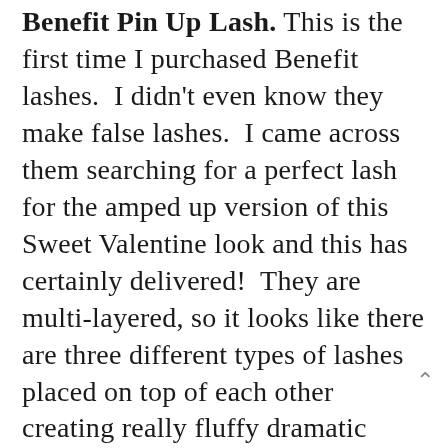Benefit Pin Up Lash. This is the first time I purchased Benefit lashes.  I didn't even know they make false lashes.  I came across them searching for a perfect lash for the amped up version of this Sweet Valentine look and this has certainly delivered!  They are multi-layered, so it looks like there are three different types of lashes placed on top of each other creating really fluffy dramatic effect without looking too heavy. Bourjois Rouge Edition Aqua